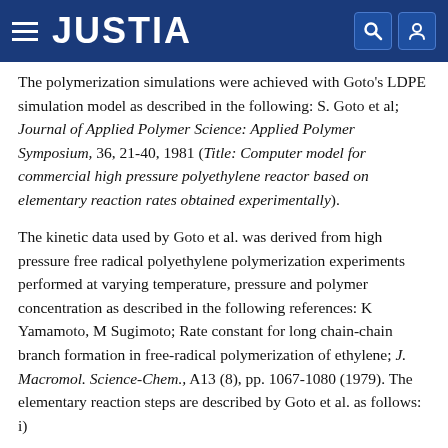JUSTIA
The polymerization simulations were achieved with Goto's LDPE simulation model as described in the following: S. Goto et al; Journal of Applied Polymer Science: Applied Polymer Symposium, 36, 21-40, 1981 (Title: Computer model for commercial high pressure polyethylene reactor based on elementary reaction rates obtained experimentally).
The kinetic data used by Goto et al. was derived from high pressure free radical polyethylene polymerization experiments performed at varying temperature, pressure and polymer concentration as described in the following references: K Yamamoto, M Sugimoto; Rate constant for long chain-chain branch formation in free-radical polymerization of ethylene; J. Macromol. Science-Chem., A13 (8), pp. 1067-1080 (1979). The elementary reaction steps are described by Goto et al. as follows: i)